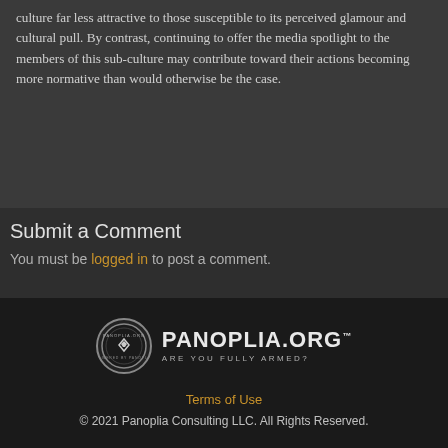culture far less attractive to those susceptible to its perceived glamour and cultural pull. By contrast, continuing to offer the media spotlight to the members of this sub-culture may contribute toward their actions becoming more normative than would otherwise be the case.
Submit a Comment
You must be logged in to post a comment.
[Figure (logo): Panoplia.org logo with circular emblem and text 'PANOPLIA.ORG™ ARE YOU FULLY ARMED?']
Terms of Use
© 2021 Panoplia Consulting LLC. All Rights Reserved.